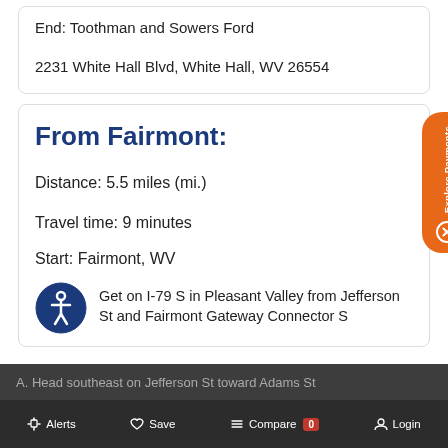End: Toothman and Sowers Ford
2231 White Hall Blvd, White Hall, WV 26554
From Fairmont:
Distance: 5.5 miles (mi.)
Travel time: 9 minutes
Start: Fairmont, WV
Get on I-79 S in Pleasant Valley from Jefferson St and Fairmont Gateway Connector S
A. Head southeast on Jefferson St toward Adams St (0.3 mi)
Alerts  Save  Compare 0  Login